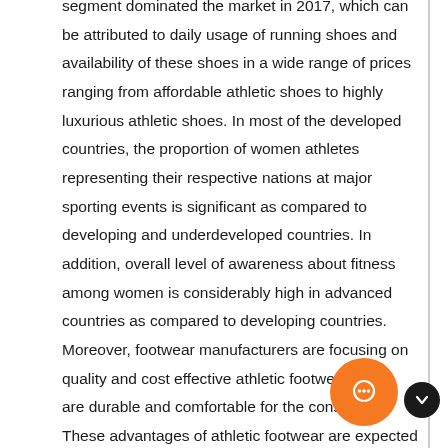segment dominated the market in 2017, which can be attributed to daily usage of running shoes and availability of these shoes in a wide range of prices ranging from affordable athletic shoes to highly luxurious athletic shoes. In most of the developed countries, the proportion of women athletes representing their respective nations at major sporting events is significant as compared to developing and underdeveloped countries. In addition, overall level of awareness about fitness among women is considerably high in advanced countries as compared to developing countries. Moreover, footwear manufacturers are focusing on quality and cost effective athletic footwear which are durable and comfortable for the consumers. These advantages of athletic footwear are expected to bolster the market in near future. Likewise, adoption of latest 3-D printing technology by the shoe manufacturers in order to manufacture shoes in less time and enhanced quality is the key factor for the growth of athletic foo...